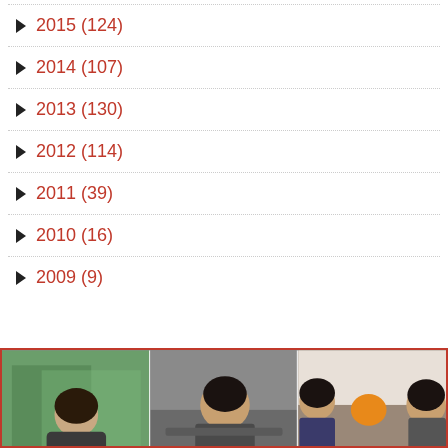► 2015 (124)
► 2014 (107)
► 2013 (130)
► 2012 (114)
► 2011 (39)
► 2010 (16)
► 2009 (9)
[Figure (photo): Three-panel photo strip showing people in different settings: person seen from behind outdoors near greenery, person working at desk in office, two people in a living room with orange object visible]